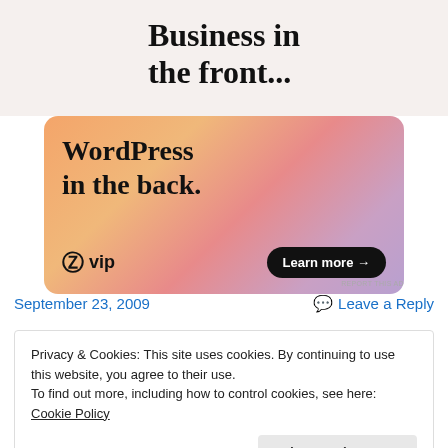[Figure (illustration): WordPress VIP advertisement. Top section on light beige background with bold serif text 'Business in the front...' and bottom section on orange-pink gradient rounded card with text 'WordPress in the back.' with WordPress VIP logo and 'Learn more →' button.]
REPORT THIS AD
September 23, 2009
💬 Leave a Reply
Privacy & Cookies: This site uses cookies. By continuing to use this website, you agree to their use.
To find out more, including how to control cookies, see here: Cookie Policy
Close and accept